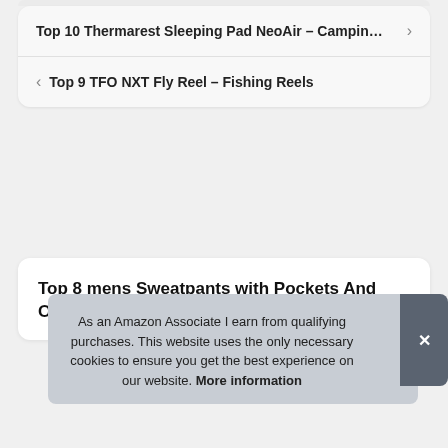Top 10 Thermarest Sleeping Pad NeoAir – Campin… >
< Top 9 TFO NXT Fly Reel – Fishing Reels
Top 8 mens Sweatpants with Pockets And Open Bottom – Men's Athletic Pants
As an Amazon Associate I earn from qualifying purchases. This website uses the only necessary cookies to ensure you get the best experience on our website. More information